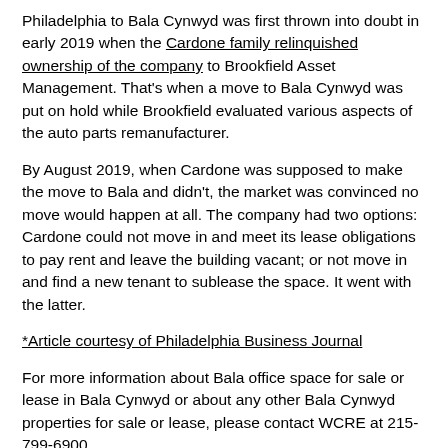Philadelphia to Bala Cynwyd was first thrown into doubt in early 2019 when the Cardone family relinquished ownership of the company to Brookfield Asset Management. That's when a move to Bala Cynwyd was put on hold while Brookfield evaluated various aspects of the auto parts remanufacturer.
By August 2019, when Cardone was supposed to make the move to Bala and didn't, the market was convinced no move would happen at all. The company had two options: Cardone could not move in and meet its lease obligations to pay rent and leave the building vacant; or not move in and find a new tenant to sublease the space. It went with the latter.
*Article courtesy of Philadelphia Business Journal
For more information about Bala office space for sale or lease in Bala Cynwyd or about any other Bala Cynwyd properties for sale or lease, please contact WCRE at 215-799-6900.
Wolf Commercial Real Estate, a full-service CORFAC International brokerage and advisory firm, is a premier Bala Cynwyd commercial real estate broker that provides a full range of Bala Cynwyd commercial real estate listings